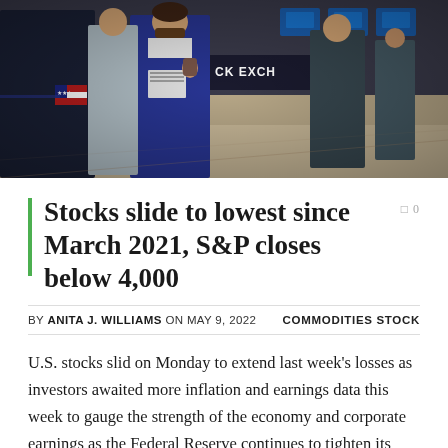[Figure (photo): NYSE trading floor with traders in blue jackets, one wearing an American flag patch, and the New York Stock Exchange sign visible in the background]
Stocks slide to lowest since March 2021, S&P closes below 4,000
BY ANITA J. WILLIAMS ON MAY 9, 2022    COMMODITIES STOCK
U.S. stocks slid on Monday to extend last week's losses as investors awaited more inflation and earnings data this week to gauge the strength of the economy and corporate earnings as the Federal Reserve continues to tighten its monetary policy.